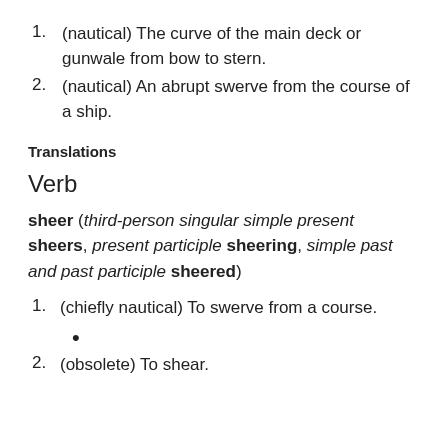1. (nautical) The curve of the main deck or gunwale from bow to stern.
2. (nautical) An abrupt swerve from the course of a ship.
Translations
Verb
sheer (third-person singular simple present sheers, present participle sheering, simple past and past participle sheered)
1. (chiefly nautical) To swerve from a course.
•
2. (obsolete) To shear.